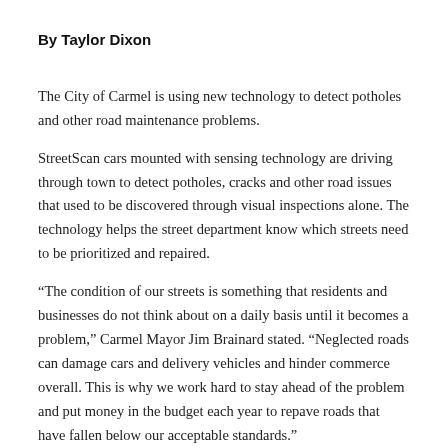By Taylor Dixon
The City of Carmel is using new technology to detect potholes and other road maintenance problems.
StreetScan cars mounted with sensing technology are driving through town to detect potholes, cracks and other road issues that used to be discovered through visual inspections alone. The technology helps the street department know which streets need to be prioritized and repaired.
“The condition of our streets is something that residents and businesses do not think about on a daily basis until it becomes a problem,” Carmel Mayor Jim Brainard stated. “Neglected roads can damage cars and delivery vehicles and hinder commerce overall. This is why we work hard to stay ahead of the problem and put money in the budget each year to repave roads that have fallen below our acceptable standards.”